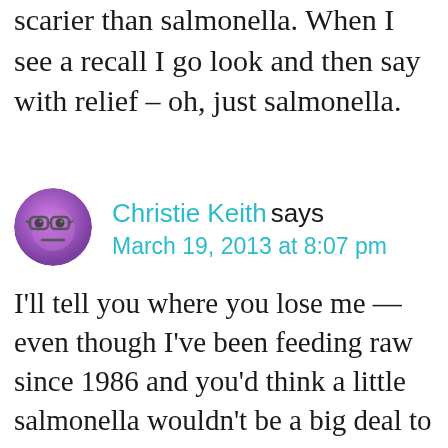scarier than salmonella. When I see a recall I go look and then say with relief – oh, just salmonella.
[Figure (illustration): Purple/violet cartoon avatar with glasses and a neutral expression, circular shape]
Christie Keith says
March 19, 2013 at 8:07 pm
I'll tell you where you lose me — even though I've been feeding raw since 1986 and you'd think a little salmonella wouldn't be a big deal to me. This is where: Even if salmonella itself does not pose a health threat to our pets, it serves as a surrogate marker for bad food processing practices. There should not be fecal bacterial contamination of our food supply. I am not